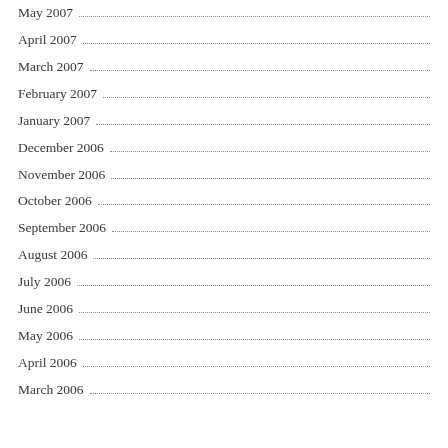May 2007
April 2007
March 2007
February 2007
January 2007
December 2006
November 2006
October 2006
September 2006
August 2006
July 2006
June 2006
May 2006
April 2006
March 2006